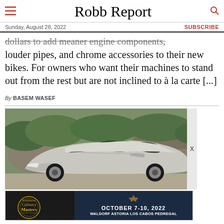Robb Report
Sunday, August 28, 2022   SUBSCRIBE
dollars to add meaner engine components, louder pipes, and chrome accessories to their new bikes. For owners who want their machines to stand out from the rest but are not inclined to à la carte [...]
By BASEM WASEF
[Figure (photo): Silver supercar (likely Pagani Huayra) photographed outdoors with rocks and green shrubbery in background]
[Figure (infographic): Advertisement banner: Robb Report Culinary Masters, October 7-10, 2022, Waldorf Astoria Los Cabos Pedregal]